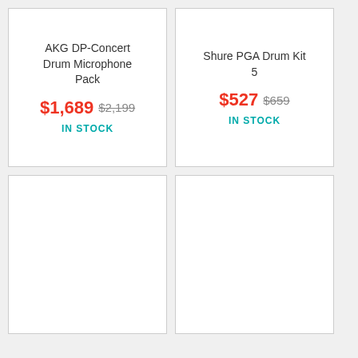AKG DP-Concert Drum Microphone Pack
$1,689  $2,199  IN STOCK
Shure PGA Drum Kit 5
$527  $659  IN STOCK
[Figure (infographic): Product card with 20% OFF ribbon banner in top-left corner]
[Figure (infographic): Product card with 23% OFF ribbon banner in top-left corner]